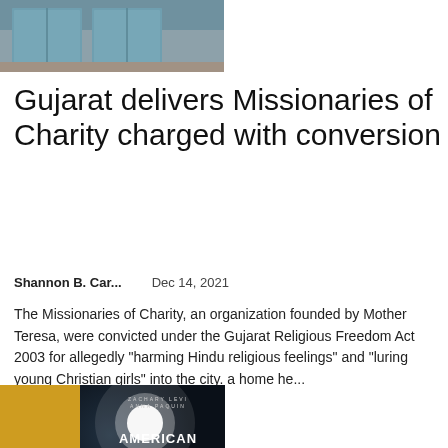[Figure (photo): Blurred blue doors/walls background photo, partially visible at top]
Gujarat delivers Missionaries of Charity charged with conversion
Shannon B. Car...    Dec 14, 2021
The Missionaries of Charity, an organization founded by Mother Teresa, were convicted under the Gujarat Religious Freedom Act 2003 for allegedly "harming Hindu religious feelings" and "luring young Christian girls" into the city. a home he...
[Figure (photo): Movie poster for American Underdog showing a football player with jersey number 13 labeled WARNER, with bright stadium lights, text: ZACHARY LEVI, ANNA PAQUIN, AMERICAN UNDERDOG]